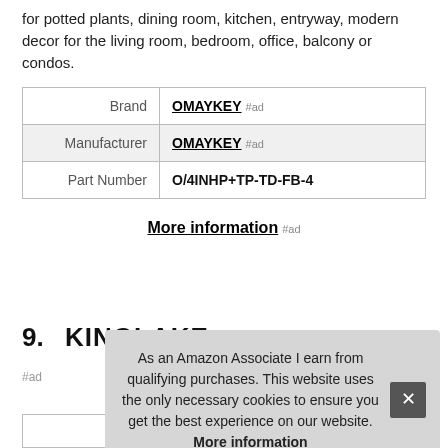for potted plants, dining room, kitchen, entryway, modern decor for the living room, bedroom, office, balcony or condos.
|  |  |
| --- | --- |
| Brand | OMAYKEY #ad |
| Manufacturer | OMAYKEY #ad |
| Part Number | O/4INHP+TP-TD-FB-4 |
More information #ad
9. KINGLAKE
#ad
As an Amazon Associate I earn from qualifying purchases. This website uses the only necessary cookies to ensure you get the best experience on our website. More information